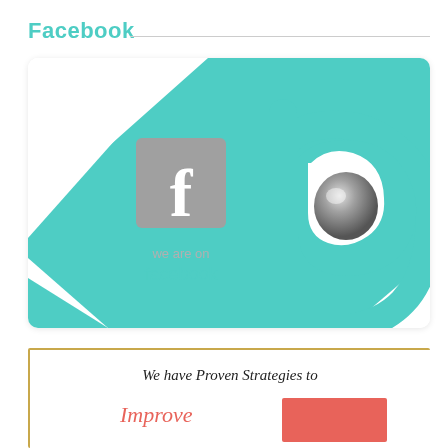Facebook
[Figure (illustration): Facebook social media card with teal/white background featuring a grey Facebook 'f' logo icon, text 'we are on facebook', and a stylized teal 'b' logo (Beats-style) in the upper right]
[Figure (infographic): Partial view of a card with gold border containing italic text 'We have Proven Strategies to' and below it 'Improve' in coral/red italic text, with a salmon-colored rectangle on the right, and an up-arrow button in the top right corner]